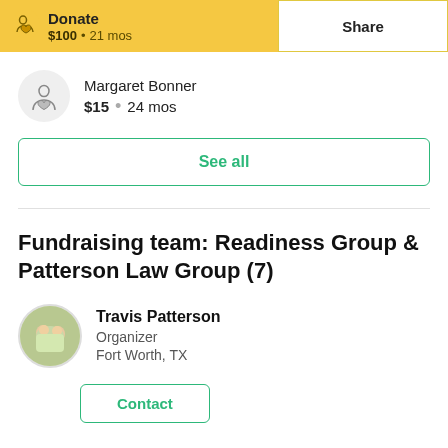[Figure (other): Donate button with yellow background showing Jason Jones, $100, 21 mos and Share button with yellow border]
[Figure (other): Donor avatar icon (person with heart) on grey circle background]
Margaret Bonner
$15 • 24 mos
See all
Fundraising team: Readiness Group & Patterson Law Group (7)
[Figure (photo): Round profile photo of Travis Patterson, a couple outdoors]
Travis Patterson
Organizer
Fort Worth, TX
Contact